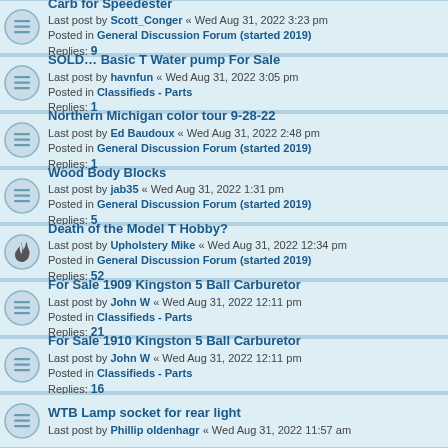Carb for Speedester
Last post by Scott_Conger « Wed Aug 31, 2022 3:23 pm
Posted in General Discussion Forum (started 2019)
Replies: 9
SOLD… Basic T Water pump For Sale
Last post by havnfun « Wed Aug 31, 2022 3:05 pm
Posted in Classifieds - Parts
Replies: 1
Northern Michigan color tour 9-28-22
Last post by Ed Baudoux « Wed Aug 31, 2022 2:48 pm
Posted in General Discussion Forum (started 2019)
Replies: 1
Wood Body Blocks
Last post by jab35 « Wed Aug 31, 2022 1:31 pm
Posted in General Discussion Forum (started 2019)
Replies: 5
Death of the Model T Hobby?
Last post by Upholstery Mike « Wed Aug 31, 2022 12:34 pm
Posted in General Discussion Forum (started 2019)
Replies: 52
For Sale 1909 Kingston 5 Ball Carburetor
Last post by John W « Wed Aug 31, 2022 12:11 pm
Posted in Classifieds - Parts
Replies: 21
For Sale 1910 Kingston 5 Ball Carburetor
Last post by John W « Wed Aug 31, 2022 12:11 pm
Posted in Classifieds - Parts
Replies: 16
WTB Lamp socket for rear light
Last post by Phillip oldenhagr « Wed Aug 31, 2022 11:57 am